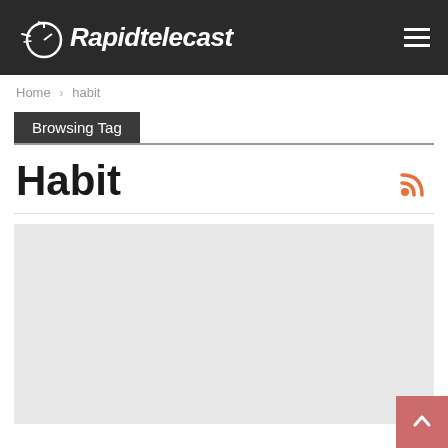Rapidtelecast
Home > habit
Browsing Tag
Habit
[Figure (other): Light gray rectangular image placeholder area below the Habit section header]
[Figure (other): Back to top button, pink/salmon colored square with white upward arrow, positioned bottom-right]